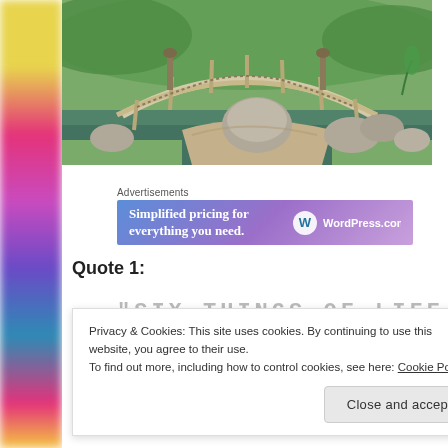[Figure (photo): Japanese garden with an arched wooden bridge over a pond, surrounded by rocks, grass, and green plants.]
Advertisements
[Figure (screenshot): WordPress.com advertisement banner with text: Simplified pricing for everything you need. WordPress.com logo on the right.]
Quote 1:
"SIX THINGS OF LIFE
Privacy & Cookies: This site uses cookies. By continuing to use this website, you agree to their use.
To find out more, including how to control cookies, see here: Cookie Policy
Close and accept